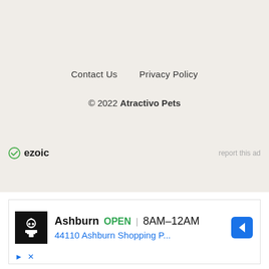Contact Us   Privacy Policy
© 2022 Atractivo Pets
ezoic   report this ad
[Figure (infographic): Advertisement banner showing a local restaurant listing: Ashburn OPEN 8AM–12AM, 44110 Ashburn Shopping P... with a chef icon and directional arrow button. Below are play and close controls.]